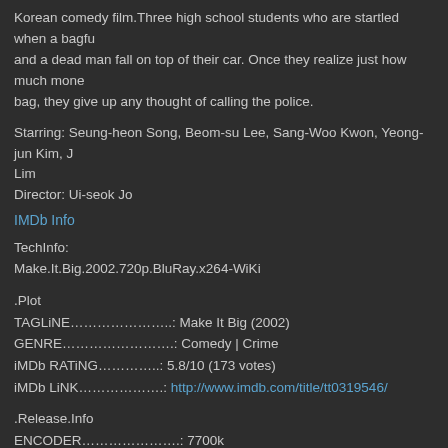Korean comedy film. Three high school students who are startled when a bagful of money and a dead man fall on top of their car. Once they realize just how much money is in the bag, they give up any thought of calling the police.
Starring: Seung-heon Song, Beom-su Lee, Sang-Woo Kwon, Yeong-jun Kim, J Lim
Director: Ui-seok Jo
IMDb Info
TechInfo:
Make.It.Big.2002.720p.BluRay.x264-WiKi
.Plot
TAGLiNE………………….: Make It Big (2002)
GENRE……………………..: Comedy | Crime
iMDb RATiNG…………….: 5.8/10 (173 votes)
iMDb LiNK……………….: http://www.imdb.com/title/tt0319546/
.Release.Info
ENCODER………………….: 7700k
RELEASE DATE…………….: 2019-09-10
RELEASE SiZE…………….: 6.61 GiB
SOURCE…………………...: 1080p JPN Blu-ray AVC TrueHD 5.1-ARiN
.Media.Info